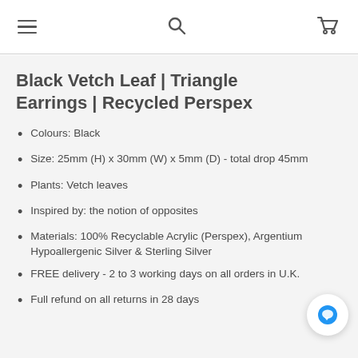[Menu icon] [Search icon] [Cart icon]
Black Vetch Leaf | Triangle Earrings | Recycled Perspex
Colours: Black
Size: 25mm (H) x 30mm (W) x 5mm (D) - total drop 45mm
Plants: Vetch leaves
Inspired by: the notion of opposites
Materials: 100% Recyclable Acrylic (Perspex), Argentium Hypoallergenic Silver & Sterling Silver
FREE delivery - 2 to 3 working days on all orders in U.K.
Full refund on all returns in 28 days